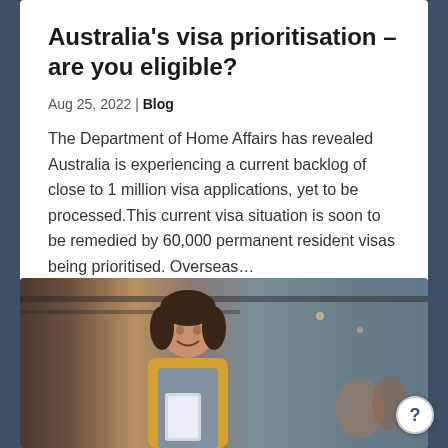Australia's visa prioritisation – are you eligible?
Aug 25, 2022 | Blog
The Department of Home Affairs has revealed Australia is experiencing a current backlog of close to 1 million visa applications, yet to be processed.This current visa situation is soon to be remedied by 60,000 permanent resident visas being prioritised. Overseas…
[Figure (photo): A smiling woman wearing a yellow top and grey apron standing in a cafe/restaurant environment, holding something in front of her.]